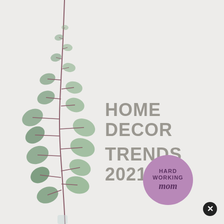[Figure (illustration): Eucalyptus branch/plant with green-grey leaves on a light grey/white background, tall and slender extending from bottom to top of page]
HOME DECOR TRENDS 2021
[Figure (logo): Round purple/mauve circle logo with text 'HARD WORKING mom' in purple lettering]
[Figure (other): Black circular close/X button in bottom right corner]